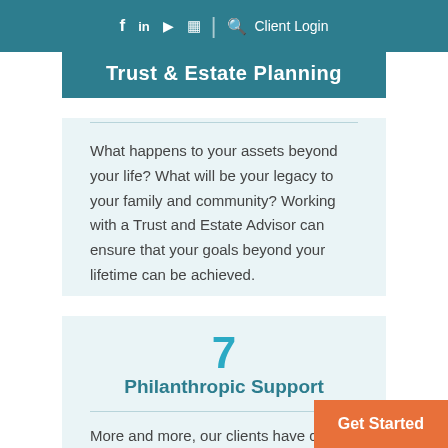f in ▶ ☑ | 🔍 Client Login
Trust & Estate Planning
What happens to your assets beyond your life? What will be your legacy to your family and community? Working with a Trust and Estate Advisor can ensure that your goals beyond your lifetime can be achieved.
7
Philanthropic Support
More and more, our clients have chosen to support organizations in the community going beyond making simple donations. With planned